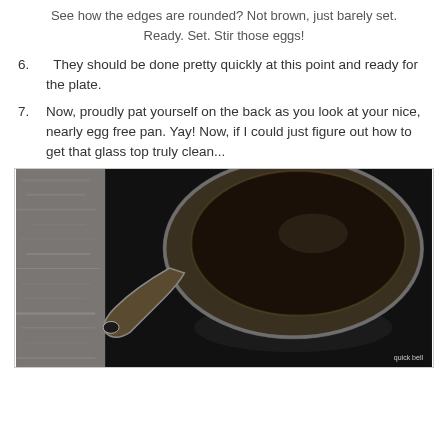See how the edges are rounded?  Not brown, just barely set. Ready. Set. Stir those eggs!
6.  They should be done pretty quickly at this point and ready for the plate.
7. Now, proudly pat yourself on the back as you look at your nice, nearly egg free pan. Yay! Now, if I could just figure out how to get that glass top truly clean...
[Figure (photo): A cast iron skillet sitting on a glass-top stove, viewed from above. The pan appears clean and dark, with the handle pointing to the lower left. The stove surface is black and reflective.]